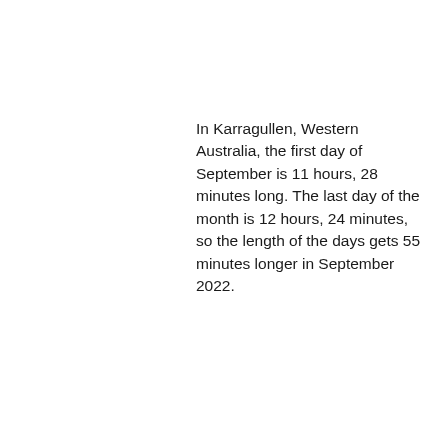In Karragullen, Western Australia, the first day of September is 11 hours, 28 minutes long. The last day of the month is 12 hours, 24 minutes, so the length of the days gets 55 minutes longer in September 2022.